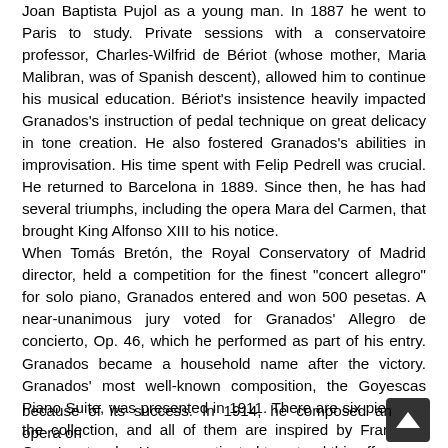Joan Baptista Pujol as a young man. In 1887 he went to Paris to study. Private sessions with a conservatoire professor, Charles-Wilfrid de Bériot (whose mother, Maria Malibran, was of Spanish descent), allowed him to continue his musical education. Bériot's insistence heavily impacted Granados's instruction of pedal technique on great delicacy in tone creation. He also fostered Granados's abilities in improvisation. His time spent with Felip Pedrell was crucial. He returned to Barcelona in 1889. Since then, he has had several triumphs, including the opera Mara del Carmen, that brought King Alfonso XIII to his notice. When Tomás Bretón, the Royal Conservatory of Madrid director, held a competition for the finest "concert allegro" for solo piano, Granados entered and won 500 pesetas. A near-unanimous jury voted for Granados' Allegro de concierto, Op. 46, which he performed as part of his entry. Granados became a household name after the victory. Granados' most well-known composition, the Goyescas Piano Suite, was presented in 1911. There are six pieces in the collection, and all of them are inspired by Francisco Goya's artworks. He was motivated to extend this effort because of its success. In 1914, he composed an opera on